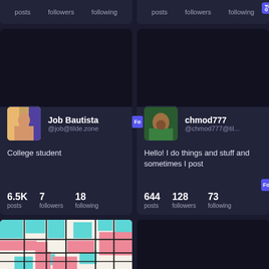posts  followers  following
posts  followers  following
[Figure (screenshot): Social media profile card for Job Bautista (@job@tilde.zone), bio: College student, 6.5K posts, 7 followers, 18 following]
[Figure (screenshot): Social media profile card for chmod777 (@chmod777@til...), bio: Hello! I do things and stuff and sometimes I post, 644 posts, 128 followers, 73 following]
[Figure (illustration): Mondrian-style colorful grid pattern with pink, cyan, and cream colored rectangles]
[Figure (screenshot): Dark blank social media profile card (right bottom)]